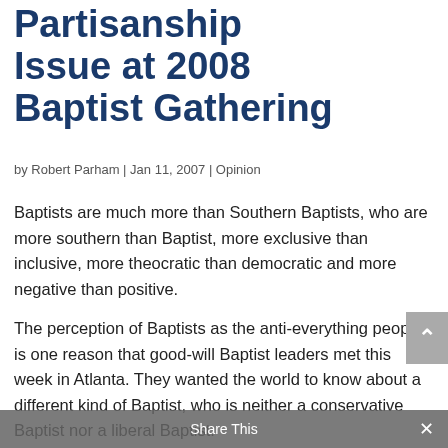Partisanship Issue at 2008 Baptist Gathering
by Robert Parham | Jan 11, 2007 | Opinion
Baptists are much more than Southern Baptists, who are more southern than Baptist, more exclusive than inclusive, more theocratic than democratic and more negative than positive.
The perception of Baptists as the anti-everything people is one reason that good-will Baptist leaders met this week in Atlanta. They wanted the world to know about a different kind of Baptist, who is neither a conservative Baptist nor a liberal Baptist.